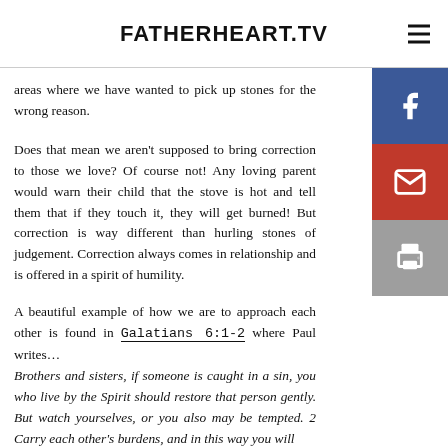FATHERHEART.TV
areas where we have wanted to pick up stones for the wrong reason.
Does that mean we aren't supposed to bring correction to those we love? Of course not! Any loving parent would warn their child that the stove is hot and tell them that if they touch it, they will get burned! But correction is way different than hurling stones of judgement. Correction always comes in relationship and is offered in a spirit of humility.
A beautiful example of how we are to approach each other is found in Galatians 6:1-2 where Paul writes… Brothers and sisters, if someone is caught in a sin, you who live by the Spirit should restore that person gently. But watch yourselves, or you also may be tempted. 2 Carry each other's burdens, and in this way you will